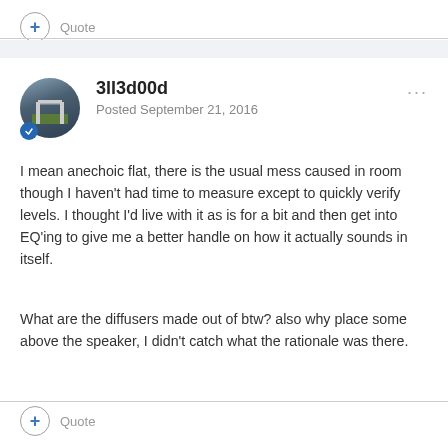+ Quote
3ll3d00d
Posted September 21, 2016
I mean anechoic flat, there is the usual mess caused in room though I haven't had time to measure except to quickly verify levels. I thought I'd live with it as is for a bit and then get into EQ'ing to give me a better handle on how it actually sounds in itself.
What are the diffusers made out of btw? also why place some above the speaker, I didn't catch what the rationale was there.
+ Quote